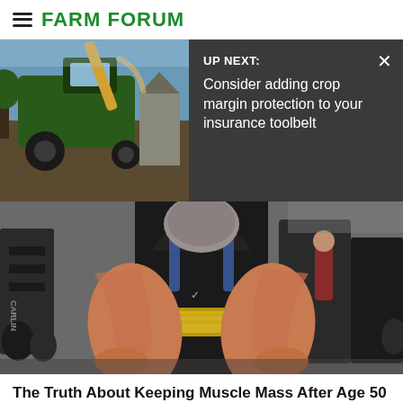FARM FORUM
[Figure (screenshot): UP NEXT: Consider adding crop margin protection to your insurance toolbelt — news card with thumbnail of farm equipment on left and dark overlay on right with text]
[Figure (photo): Person in black sleeveless shirt and gold weightlifting belt, showing muscular forearms in a gym setting]
The Truth About Keeping Muscle Mass After Age 50
advancedbionutritionals.com
[Figure (photo): Partial photo of a person with hair in a ponytail, cropped at bottom of page]